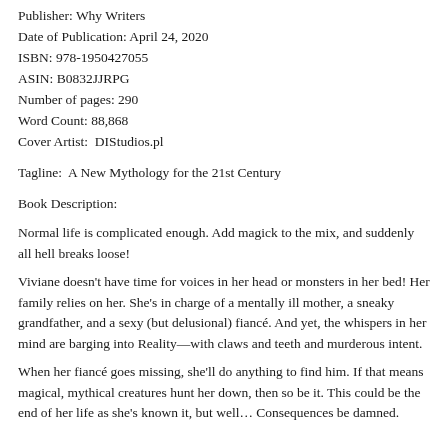Publisher: Why Writers
Date of Publication: April 24, 2020
ISBN: 978-1950427055
ASIN: B0832JJRPG
Number of pages: 290
Word Count: 88,868
Cover Artist:  DIStudios.pl
Tagline:  A New Mythology for the 21st Century
Book Description:
Normal life is complicated enough. Add magick to the mix, and suddenly all hell breaks loose!
Viviane doesn't have time for voices in her head or monsters in her bed! Her family relies on her. She's in charge of a mentally ill mother, a sneaky grandfather, and a sexy (but delusional) fiancé. And yet, the whispers in her mind are barging into Reality—with claws and teeth and murderous intent.
When her fiancé goes missing, she'll do anything to find him. If that means magical, mythical creatures hunt her down, then so be it. This could be the end of her life as she's known it, but well… Consequences be damned.